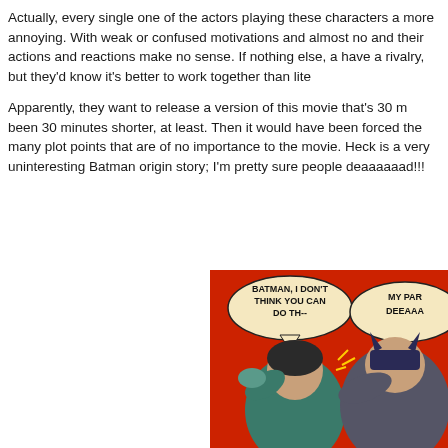Actually, every single one of the actors playing these characters a... more annoying. With weak or confused motivations and almost no... and their actions and reactions make no sense. If nothing else, a... have a rivalry, but they'd know it's better to work together than lite...
Apparently, they want to release a version of this movie that's 30 m... been 30 minutes shorter, at least. Then it would have been forced... the many plot points that are of no importance to the movie. Heck... is a very uninteresting Batman origin story; I'm pretty sure people... deaaaaaad!!!
[Figure (illustration): Batman slapping Robin comic meme. Robin has a speech bubble saying 'BATMAN, I DON'T THINK YOU CAN DO TH--' and Batman has a speech bubble saying 'MY PAR... DEEAAA...' on a red background.]